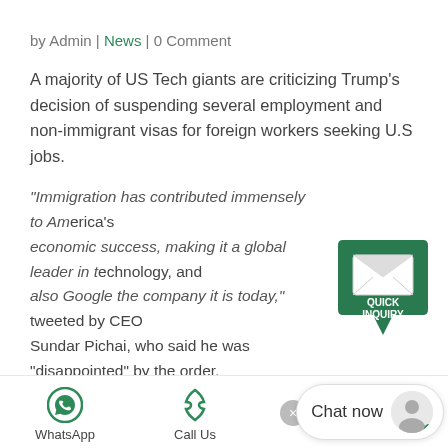by Admin | News | 0 Comment
A majority of US Tech giants are criticizing Trump's decision of suspending several employment and non-immigrant visas for foreign workers seeking U.S jobs.
"Immigration has contributed immensely to America's economic success, making it a global leader in technology, and also Google the company it is today," tweeted by CEO Sundar Pichai, who said he was "disappointed" by the order. "We'll continue to stand with immigrants and work to expand opportunity for all."
Apple's CEO, Tim Cook has also expressed his
[Figure (illustration): Quick Inquiry button - green speech bubble with envelope icon and text QUICK INQUIRY]
WhatsApp   Call Us   Chat now